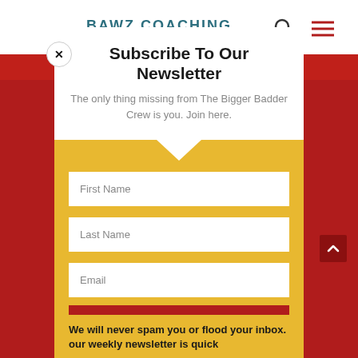BAWZ COACHING
Subscribe To Our Newsletter
The only thing missing from The Bigger Badder Crew is you. Join here.
First Name
Last Name
Email
SUBSCRIBE!
We will never spam you or flood your inbox. our weekly newsletter is quick